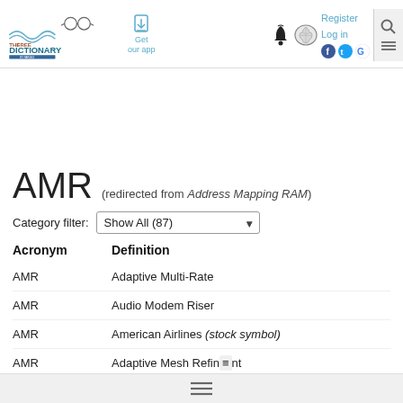[Figure (logo): The Free Dictionary by Farlex logo with glasses icon]
AMR (redirected from Address Mapping RAM)
Category filter: Show All (87)
| Acronym | Definition |
| --- | --- |
| AMR | Adaptive Multi-Rate |
| AMR | Audio Modem Riser |
| AMR | American Airlines (stock symbol) |
| AMR | Adaptive Mesh Refinement |